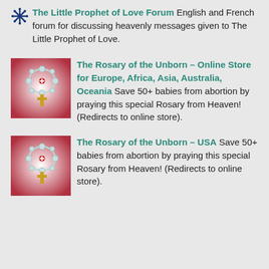The Little Prophet of Love Forum English and French forum for discussing heavenly messages given to The Little Prophet of Love.
[Figure (illustration): Rosary of the Unborn product image with rosary beads and cross on red and white background]
The Rosary of the Unborn – Online Store for Europe, Africa, Asia, Australia, Oceania Save 50+ babies from abortion by praying this special Rosary from Heaven! (Redirects to online store).
[Figure (illustration): Rosary of the Unborn product image with rosary beads and cross on red and white background]
The Rosary of the Unborn – USA Save 50+ babies from abortion by praying this special Rosary from Heaven! (Redirects to online store).